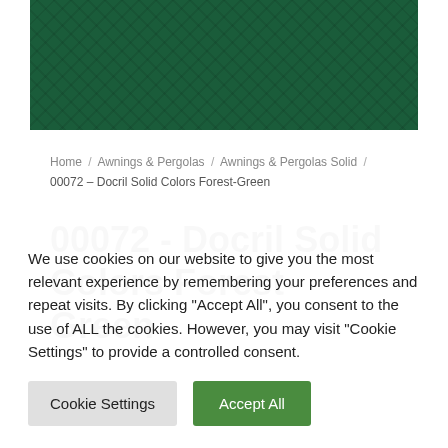[Figure (photo): Dark forest green textured fabric swatch filling the top banner area]
Home / Awnings & Pergolas / Awnings & Pergolas Solid / 00072 – Docril Solid Colors Forest-Green
00072 - Docril Solid Colors Forest-Green
We use cookies on our website to give you the most relevant experience by remembering your preferences and repeat visits. By clicking "Accept All", you consent to the use of ALL the cookies. However, you may visit "Cookie Settings" to provide a controlled consent.
Cookie Settings | Accept All